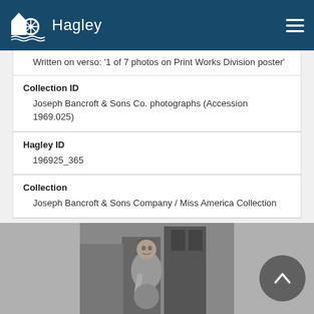Hagley
Written on verso: '1 of 7 photos on Print Works Division poster'
Collection ID
Joseph Bancroft & Sons Co. photographs (Accession 1969.025)
Hagley ID
196925_365
Collection
Joseph Bancroft & Sons Company / Miss America Collection
[Figure (photo): Black and white photograph of a woman standing in what appears to be a factory or industrial setting]